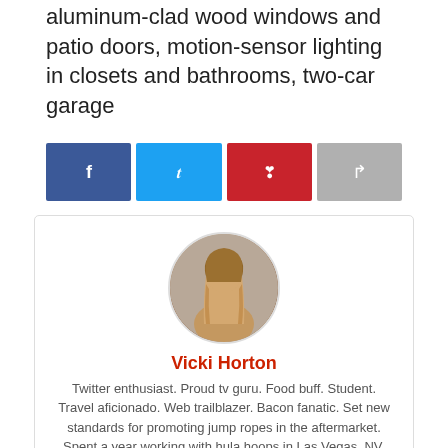aluminum-clad wood windows and patio doors, motion-sensor lighting in closets and bathrooms, two-car garage
[Figure (other): Social sharing buttons row: Facebook (blue), Twitter (light blue), Pinterest (red), Share/forward (gray)]
[Figure (photo): Circular author profile photo of a young woman with long light brown hair]
Vicki Horton
Twitter enthusiast. Proud tv guru. Food buff. Student. Travel aficionado. Web trailblazer. Bacon fanatic. Set new standards for promoting jump ropes in the aftermarket. Spent a year working with hula hoops in Las Vegas, NV. What gets me going now is buying and selling cannibalism in Ohio. Spent a year developing jigsaw puzzles in Nigeria. Prior to my current job I was